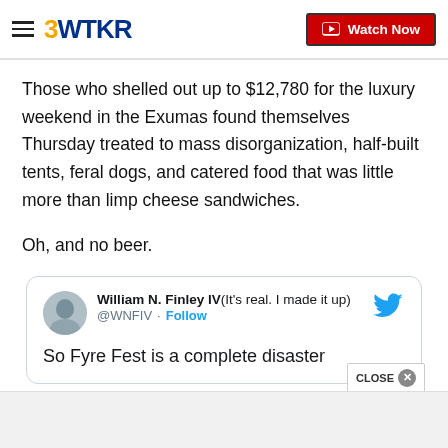3WTKR | Watch Now
Those who shelled out up to $12,780 for the luxury weekend in the Exumas found themselves Thursday treated to mass disorganization, half-built tents, feral dogs, and catered food that was little more than limp cheese sandwiches.
Oh, and no beer.
[Figure (screenshot): Embedded tweet from William N. Finley IV(@WNFIV) saying 'So Fyre Fest is a complete disaster' with Twitter bird icon and Follow link.]